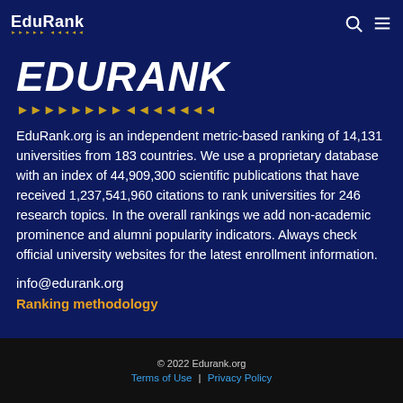EduRank
[Figure (logo): EduRank large italic bold white text logo with golden laurel/wheat ornament below]
EduRank.org is an independent metric-based ranking of 14,131 universities from 183 countries. We use a proprietary database with an index of 44,909,300 scientific publications that have received 1,237,541,960 citations to rank universities for 246 research topics. In the overall rankings we add non-academic prominence and alumni popularity indicators. Always check official university websites for the latest enrollment information.
info@edurank.org
Ranking methodology
© 2022 Edurank.org  Terms of Use | Privacy Policy